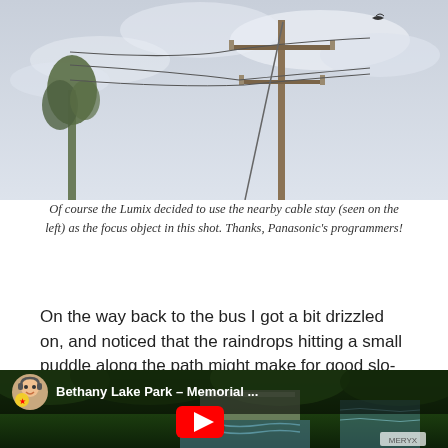[Figure (photo): Outdoor photo of utility poles with power lines and wires against an overcast sky, with a bird in flight and a tree visible on the left edge.]
Of course the Lumix decided to use the nearby cable stay (seen on the left) as the focus object in this shot. Thanks, Panasonic's programmers!
On the way back to the bus I got a bit drizzled on, and noticed that the raindrops hitting a small puddle along the path might make for good slo-mo footage. Here’s that result, following the first bit at the dam/waterfall/thing:
[Figure (screenshot): YouTube video thumbnail screenshot showing 'Bethany Lake Park - Memorial ...' with a avatar icon of a person with headphones, a waterfall/dam scene in the background, and a YouTube play button at the bottom.]